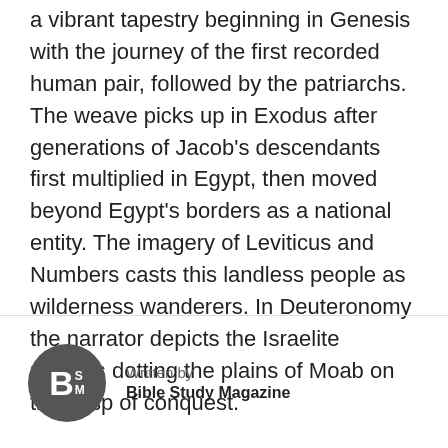a vibrant tapestry beginning in Genesis with the journey of the first recorded human pair, followed by the patriarchs. The weave picks up in Exodus after generations of Jacob's descendants first multiplied in Egypt, then moved beyond Egypt's borders as a national entity. The imagery of Leviticus and Numbers casts this landless people as wilderness wanderers. In Deuteronomy the narrator depicts the Israelite masses dotting the plains of Moab on the cusp of conquest.

Throughout this skillfully woven tapestry, divine and human agendas contrast sharply,
Written by
Bible Study Magazine